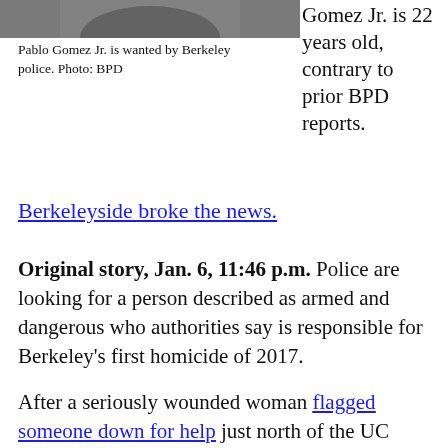[Figure (photo): Top portion of a photo of Pablo Gomez Jr., cropped to show bottom of face/head area.]
Pablo Gomez Jr. is wanted by Berkeley police. Photo: BPD
Gomez Jr. is 22 years old, contrary to prior BPD reports.
Berkeleyside broke the news.
Original story, Jan. 6, 11:46 p.m. Police are looking for a person described as armed and dangerous who authorities say is responsible for Berkeley's first homicide of 2017.
After a seriously wounded woman flagged someone down for help just north of the UC Berkeley campus shortly before noon Friday, police ultimately located a “violent crime” scene and discovered the body of a person they say has not been identified in the 2400 block of Ashby Avenue.